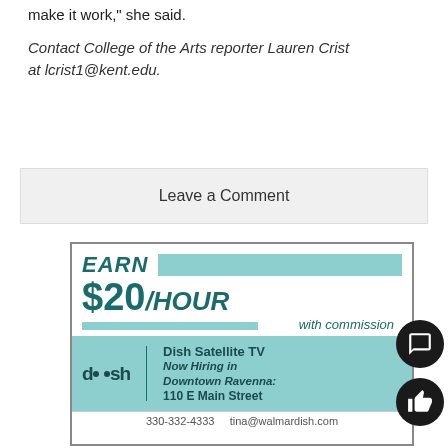make it work," she said.
Contact College of the Arts reporter Lauren Crist at lcrist1@kent.edu.
Leave a Comment
[Figure (infographic): Dish Satellite TV advertisement: EARN $20/HOUR with commission. Now Hiring in Downtown Ravenna: 110 E Main Street. Shows dish logo and partial phone/email at bottom.]